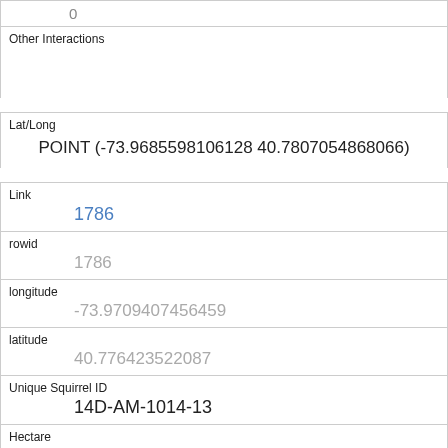| Other Interactions |  |
| Lat/Long | POINT (-73.9685598106128 40.7807054868066) |
| Link | 1786 |
| rowid | 1786 |
| longitude | -73.9709407456459 |
| latitude | 40.776423522087 |
| Unique Squirrel ID | 14D-AM-1014-13 |
| Hectare | 14D |
| Shift | AM |
| Date |  |